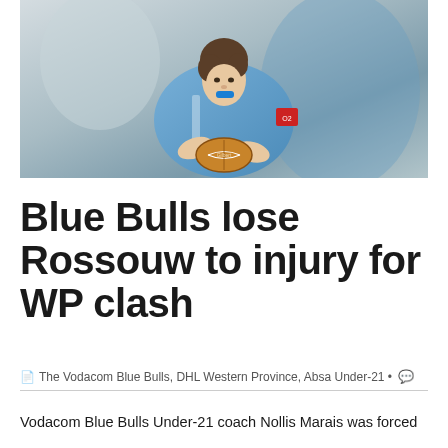[Figure (photo): Rugby player in blue Vodacom Blue Bulls jersey catching/carrying a Gilbert rugby ball, wearing a blue mouthguard, action shot]
Blue Bulls lose Rossouw to injury for WP clash
The Vodacom Blue Bulls, DHL Western Province, Absa Under-21 •
Vodacom Blue Bulls Under-21 coach Nollis Marais was forced